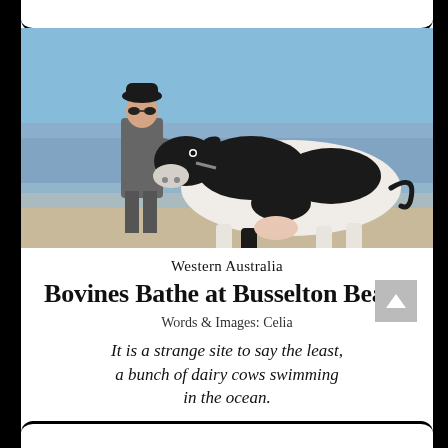[Figure (photo): Man in suit and hat standing with a black and white dairy cow on a beach with ocean water behind them]
Western Australia
Bovines Bathe at Busselton Beach
Words & Images: Celia
It is a strange site to say the least, a bunch of dairy cows swimming in the ocean.